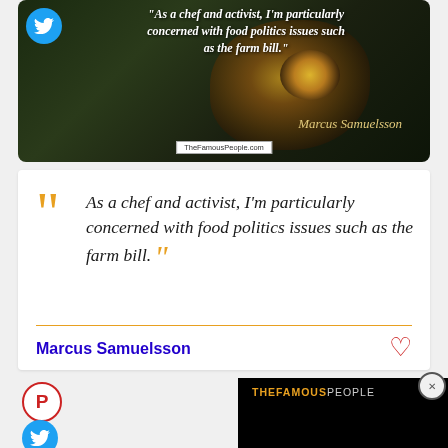[Figure (photo): Dark nature background with butterfly wing/eye pattern, Twitter bird icon in blue circle top-left, white italic quote text overlay, cursive signature 'Marcus Samuelsson', watermark 'TheFamousPeople.com']
"As a chef and activist, I'm particularly concerned with food politics issues such as the farm bill."
[Figure (infographic): White quote card with large gold opening double-quote marks, italic text of the quote, gold closing double-quote marks, gold horizontal divider line, blue 'Marcus Samuelsson' author name, red heart icon]
As a chef and activist, I'm particularly concerned with food politics issues such as the farm bill.
Marcus Samuelsson
[Figure (logo): Pinterest red circle button and Twitter blue circle button on left; black video panel on right with 'THEFAMOUSPEOPLE' text]